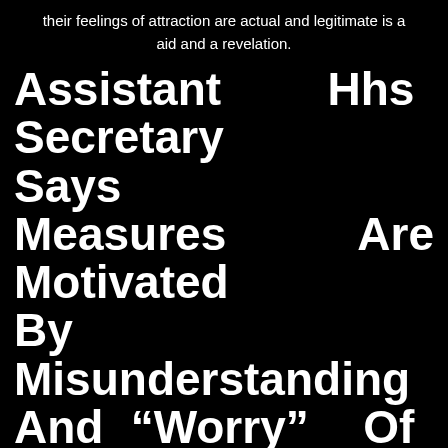their feelings of attraction are actual and legitimate is a aid and a revelation.
Assistant Hhs Secretary Says Measures Are Motivated By Misunderstanding And “Worry” Of Transgender People
When you hold one thing of this magnitude again, you’re disrupting your intimacy. The Annual Population survey discovered 230,000 individuals recognized brazenly as